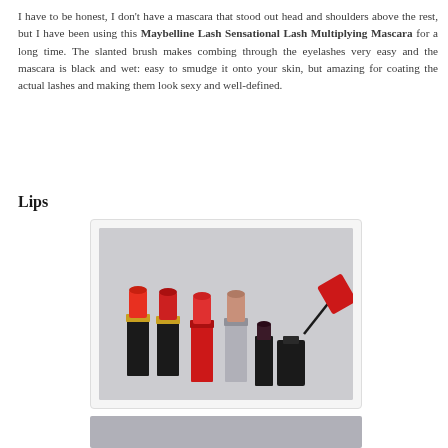I have to be honest, I don't have a mascara that stood out head and shoulders above the rest, but I have been using this Maybelline Lash Sensational Lash Multiplying Mascara for a long time. The slanted brush makes combing through the eyelashes very easy and the mascara is black and wet: easy to smudge it onto your skin, but amazing for coating the actual lashes and making them look sexy and well-defined.
Lips
[Figure (photo): Photo of six lip products arranged on a white surface: two L'Oreal lipsticks with black and gold packaging showing red/orange shades, one red lipstick in red casing, one lipstick in silver casing with nude/pink shade, one short black lipstick with dark berry shade, and one black liquid lipstick bottle with red cap open and applicator extended.]